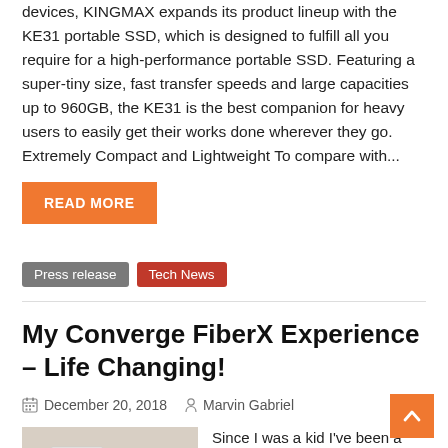devices, KINGMAX expands its product lineup with the KE31 portable SSD, which is designed to fulfill all you require for a high-performance portable SSD. Featuring a super-tiny size, fast transfer speeds and large capacities up to 960GB, the KE31 is the best companion for heavy users to easily get their works done wherever they go. Extremely Compact and Lightweight To compare with...
READ MORE
Press release  Tech News
My Converge FiberX Experience – Life Changing!
December 20, 2018   Marvin Gabriel
[Figure (photo): Photo of a desk/table scene with cables and a white device, likely a modem or router]
Since I was a kid I've been a loyal subscriber of Globe Telecom from...